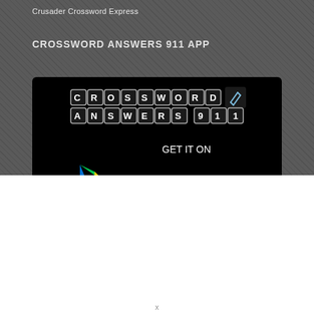Crusader Crossword Express
CROSSWORD ANSWERS 911 APP
[Figure (screenshot): Google Play Store badge for the Crossword Answers 911 app, showing the app logo with crossword tiles spelling CROSSWORD ANSWERS 911, and a GET IT ON Google Play button with the Google Play triangle logo in green, yellow, red and blue.]
[Figure (other): Social media icon circles: Facebook, Twitter, YouTube, RSS feed]